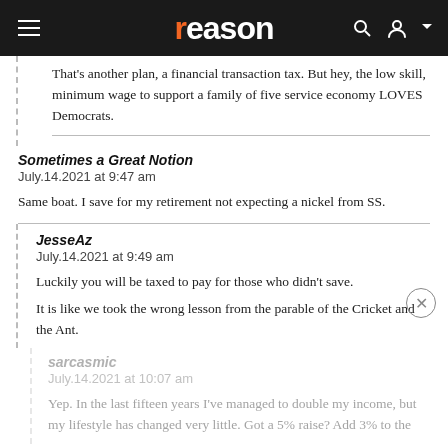reason
That’s another plan, a financial transaction tax. But hey, the low skill, minimum wage to support a family of five service economy LOVES Democrats.
Sometimes a Great Notion
July.14.2021 at 9:47 am
Same boat. I save for my retirement not expecting a nickel from SS.
JesseAz
July.14.2021 at 9:49 am
Luckily you will be taxed to pay for those who didn’t save.
It is like we took the wrong lesson from the parable of the Cricket and the Ant.
sarcasmic
July.14.2021 at 10:07 am
Yep. In the last fifteen years I've managed to double my income, but my lifestyle has changed very little. Got a 5% raise? Add 3% to the [continues]